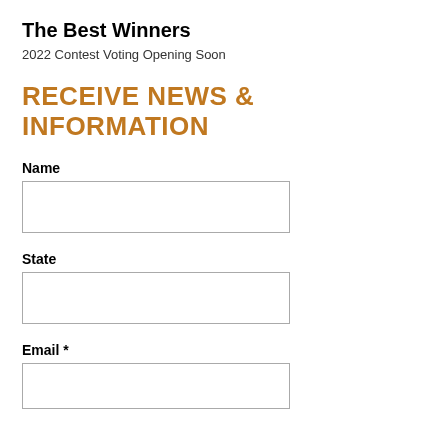The Best Winners
2022 Contest Voting Opening Soon
RECEIVE NEWS & INFORMATION
Name
State
Email *